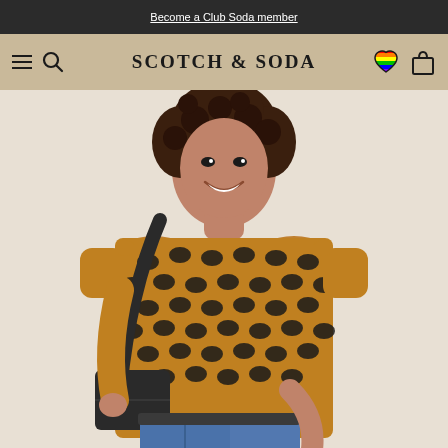Become a Club Soda member
[Figure (screenshot): Scotch & Soda website navigation bar with hamburger menu, search icon, SCOTCH & SODA logo in center, rainbow heart wishlist icon, and shopping bag icon on a tan/beige background]
[Figure (photo): A smiling woman with curly hair wearing a yellow and black geometric print short-sleeve t-shirt tucked into blue high-waisted denim jeans, carrying a black crossbody bag, photographed against a light beige background]